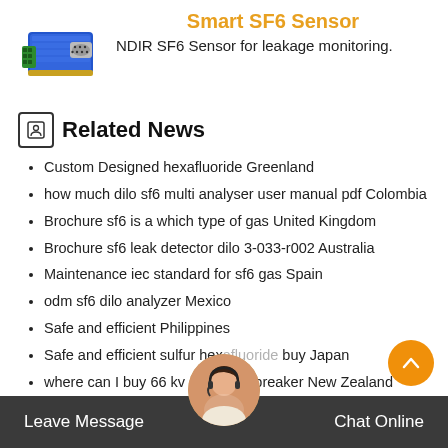[Figure (photo): Blue electronic sensor module (Smart SF6 Sensor) with green terminal connectors]
Smart SF6 Sensor
NDIR SF6 Sensor for leakage monitoring.
Related News
Custom Designed hexafluoride Greenland
how much dilo sf6 multi analyser user manual pdf Colombia
Brochure sf6 is a which type of gas United Kingdom
Brochure sf6 leak detector dilo 3-033-r002 Australia
Maintenance iec standard for sf6 gas Spain
odm sf6 dilo analyzer Mexico
Safe and efficient Philippines
Safe and efficient sulfur hexafluoride buy Japan
where can I buy 66 kv sf6 circuit breaker New Zealand
Leave Message   Chat Online